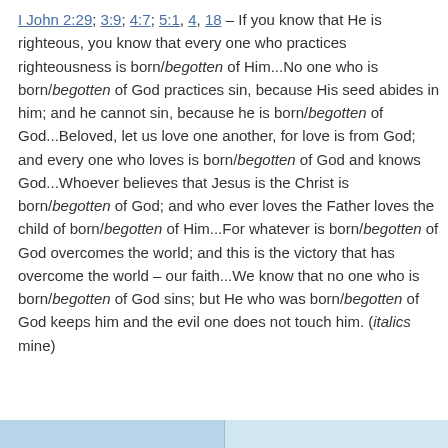I John 2:29; 3:9; 4:7; 5:1, 4, 18 – If you know that He is righteous, you know that every one who practices righteousness is born/begotten of Him...No one who is born/begotten of God practices sin, because His seed abides in him; and he cannot sin, because he is born/begotten of God...Beloved, let us love one another, for love is from God; and every one who loves is born/begotten of God and knows God...Whoever believes that Jesus is the Christ is born/begotten of God; and who ever loves the Father loves the child of born/begotten of Him...For whatever is born/begotten of God overcomes the world; and this is the victory that has overcome the world – our faith...We know that no one who is born/begotten of God sins; but He who was born/begotten of God keeps him and the evil one does not touch him. (italics mine)